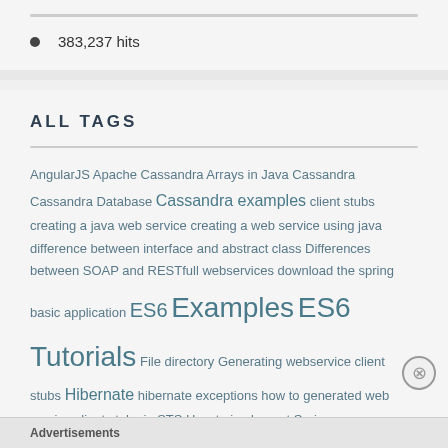383,237 hits
ALL TAGS
AngularJS Apache Cassandra Arrays in Java Cassandra Cassandra Database Cassandra examples client stubs creating a java web service creating a web service using java difference between interface and abstract class Differences between SOAP and RESTfull webservices download the spring basic application ES6 Examples ES6 Tutorials File directory Generating webservice client stubs Hibernate hibernate exceptions how to generated web service client stubs in STS How to implement Spring
Advertisements